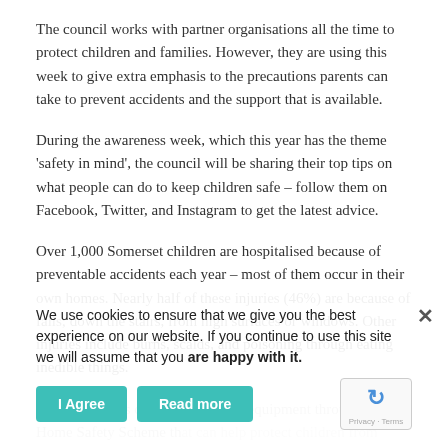The council works with partner organisations all the time to protect children and families. However, they are using this week to give extra emphasis to the precautions parents can take to prevent accidents and the support that is available.
During the awareness week, which this year has the theme 'safety in mind', the council will be sharing their top tips on what people can do to keep children safe – follow them on Facebook, Twitter, and Instagram to get the latest advice.
Over 1,000 Somerset children are hospitalised because of preventable accidents each year – most of them occur in their own homes. Nearly half of these injuries (46%) are because of falls; down the stairs, from high surfaces or windows. Other injuries include burns, scalds, and poisoning through eating inedible things.
Eligible parents can get free safety equipment through the Home Safety Scheme that can help protect children from of these accidents – anyone wishing to access it can do their health visitor.
We use cookies to ensure that we give you the best experience on our website. If you continue to use this site we will assume that you are happy with it.